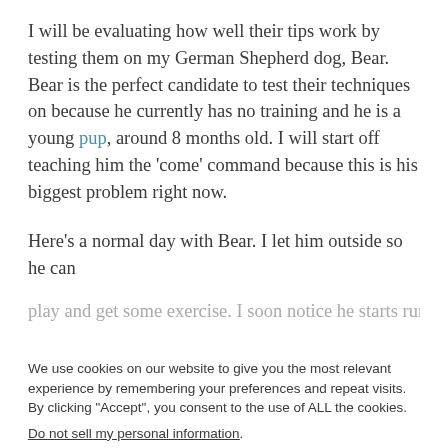I will be evaluating how well their tips work by testing them on my German Shepherd dog, Bear. Bear is the perfect candidate to test their techniques on because he currently has no training and he is a young pup, around 8 months old. I will start off teaching him the 'come' command because this is his biggest problem right now.
Here's a normal day with Bear. I let him outside so he can play and get some exercise. I soon notice he starts running
We use cookies on our website to give you the most relevant experience by remembering your preferences and repeat visits. By clicking "Accept", you consent to the use of ALL the cookies.
Do not sell my personal information.